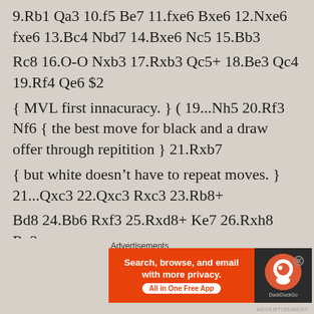9.Rb1 Qa3 10.f5 Be7 11.fxe6 Bxe6 12.Nxe6 fxe6 13.Bc4 Nbd7 14.Bxe6 Nc5 15.Bb3
Rc8 16.O-O Nxb3 17.Rxb3 Qc5+ 18.Be3 Qc4 19.Rf4 Qe6 $2
{ MVL first innacuracy. } ( 19...Nh5 20.Rf3 Nf6 { the best move for black and a draw offer through repitition } 21.Rxb7
{ but white doesn't have to repeat moves. } 21...Qxc3 22.Qxc3 Rxc3 23.Rb8+
Bd8 24.Bb6 Rxf3 25.Rxd8+ Ke7 26.Rxh8 Rc3
{ at this level should be a draw anyways. } ) 20.Rxb7
{ and Nils punishes the mistake by taking a pawn and a nice advantage. }
Advertisements
[Figure (other): DuckDuckGo advertisement banner: 'Search, browse, and email with more privacy. All in One Free App' with DuckDuckGo logo on dark background]